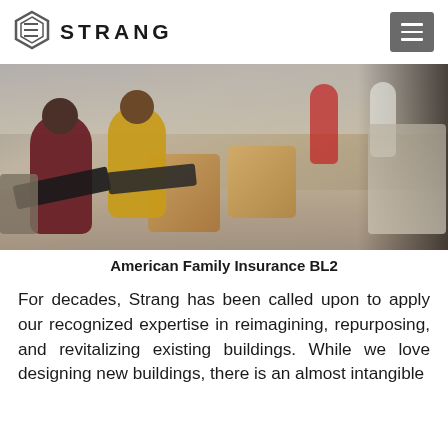STRANG
[Figure (photo): Interior office/lobby space showing two people seated at wooden cube tables working on laptops, with additional people standing in the background and modern furniture throughout.]
American Family Insurance BL2
For decades, Strang has been called upon to apply our recognized expertise in reimagining, repurposing, and revitalizing existing buildings. While we love designing new buildings, there is an almost intangible